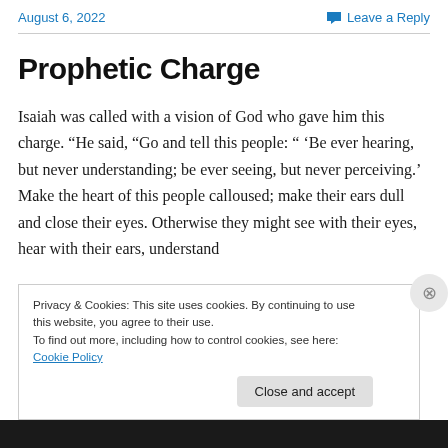August 6, 2022   Leave a Reply
Prophetic Charge
Isaiah was called with a vision of God who gave him this charge. “He said, “Go and tell this people: “ ‘Be ever hearing, but never understanding; be ever seeing, but never perceiving.’ Make the heart of this people calloused; make their ears dull and close their eyes. Otherwise they might see with their eyes, hear with their ears, understand
Privacy & Cookies: This site uses cookies. By continuing to use this website, you agree to their use.
To find out more, including how to control cookies, see here: Cookie Policy
Close and accept